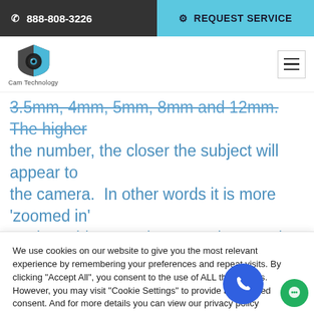888-808-3226  |  REQUEST SERVICE
[Figure (logo): Cam Technology logo - camera eye icon with black and blue colors]
3.5mm, 4mm, 5mm, 8mm and 12mm. The higher the number, the closer the subject will appear to the camera. In other words it is more 'zoomed in' on the subject. At the same time, as the camera is
We use cookies on our website to give you the most relevant experience by remembering your preferences and repeat visits. By clicking "Accept All", you consent to the use of ALL the cookies. However, you may visit "Cookie Settings" to provide a controlled consent. And for more details you can view our privacy policy